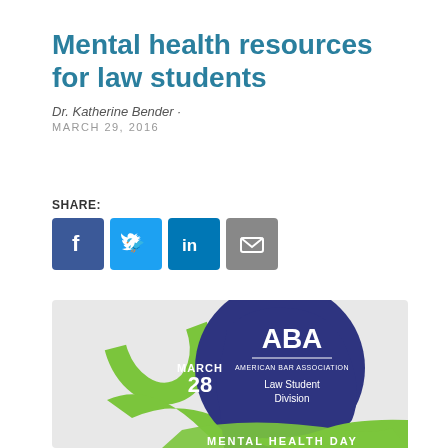Mental health resources for law students
Dr. Katherine Bender · MARCH 29, 2016
SHARE:
[Figure (logo): Social share icons: Facebook (blue), Twitter (blue), LinkedIn (blue), Email (gray)]
[Figure (logo): ABA Law Student Division Mental Health Day graphic. Shows a green ribbon and blue head silhouette with ABA logo and text: MARCH 28, AMERICAN BAR ASSOCIATION Law Student Division, MENTAL HEALTH DAY]